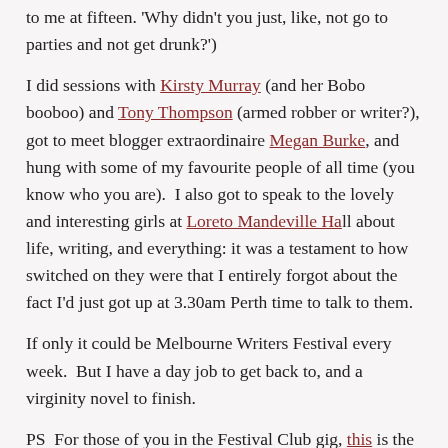to me at fifteen. 'Why didn't you just, like, not go to parties and not get drunk?')
I did sessions with Kirsty Murray (and her Bobo booboo) and Tony Thompson (armed robber or writer?), got to meet blogger extraordinaire Megan Burke, and hung with some of my favourite people of all time (you know who you are).  I also got to speak to the lovely and interesting girls at Loreto Mandeville Hall about life, writing, and everything: it was a testament to how switched on they were that I entirely forgot about the fact I'd just got up at 3.30am Perth time to talk to them.
If only it could be Melbourne Writers Festival every week.  But I have a day job to get back to, and a virginity novel to finish.
PS  For those of you in the Festival Club gig, this is the kind of performance Mike Shuttleworth was talking about.  The sound and vision quality is crap, and you need to know that it